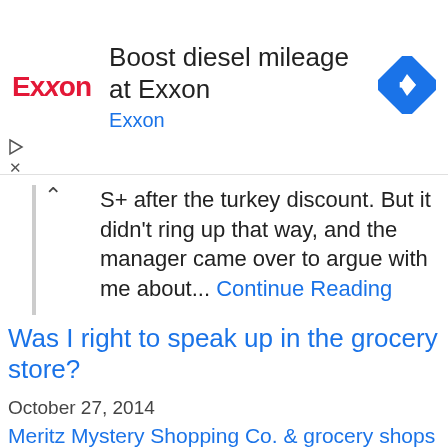[Figure (screenshot): Exxon advertisement banner with red Exxon logo, headline 'Boost diesel mileage at Exxon', subtitle 'Exxon' in blue, and a blue diamond navigation icon on the right.]
...S+ after the turkey discount. But it didn't ring up that way, and the manager came over to argue with me about... Continue Reading
Was I right to speak up in the grocery store?
October 27, 2014
This website uses cookies to ensure you get the best experience on our website.
Learn more
Got it!
Meritz Mystery Shopping Co. & grocery shops